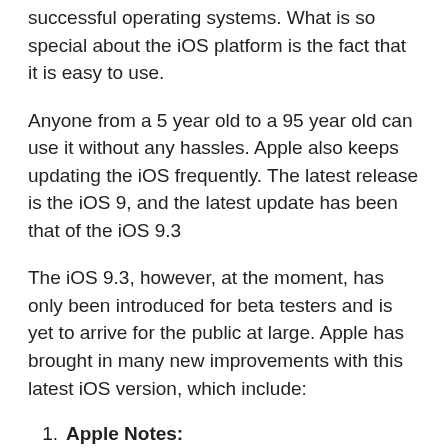successful operating systems. What is so special about the iOS platform is the fact that it is easy to use.
Anyone from a 5 year old to a 95 year old can use it without any hassles. Apple also keeps updating the iOS frequently. The latest release is the iOS 9, and the latest update has been that of the iOS 9.3
The iOS 9.3, however, at the moment, has only been introduced for beta testers and is yet to arrive for the public at large. Apple has brought in many new improvements with this latest iOS version, which include:
Apple Notes:
Apple Notes are now more secure than ever before! Users of the Apple Notes can now add master-passwords and fingerprint verification in order to access the notes. Apple has realized that they need to add additional security measures to the Apple